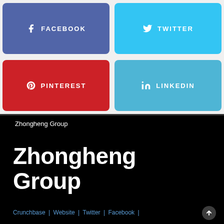[Figure (infographic): Four social media share buttons arranged in a 2x2 grid: Facebook (purple/blue), Twitter (light blue), Pinterest (red), LinkedIn (light blue)]
Zhongheng Group
Zhongheng Group
Crunchbase | Website | Twitter | Facebook |